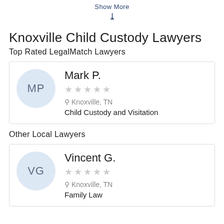Show More
Knoxville Child Custody Lawyers
Top Rated LegalMatch Lawyers
Mark P. | ☆☆☆☆☆ | Knoxville, TN | Child Custody and Visitation
Other Local Lawyers
Vincent G. | ☆☆☆☆☆ | Knoxville, TN | Family Law